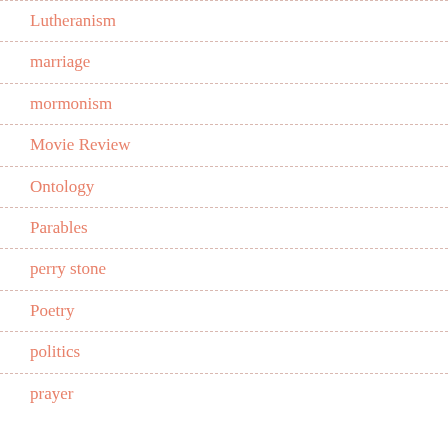Lutheranism
marriage
mormonism
Movie Review
Ontology
Parables
perry stone
Poetry
politics
prayer